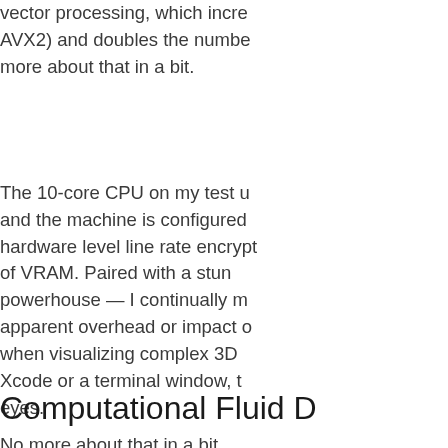vector processing, which incre… AVX2) and doubles the numbe… more about that in a bit.
The 10-core CPU on my test u… and the machine is configured… hardware level line rate encrypt… of VRAM. Paired with a stun… powerhouse — I continually m… apparent overhead or impact o… when visualizing complex 3D … Xcode or a terminal window, t… eyes.
Computational Fluid D
No more about that in a bit.